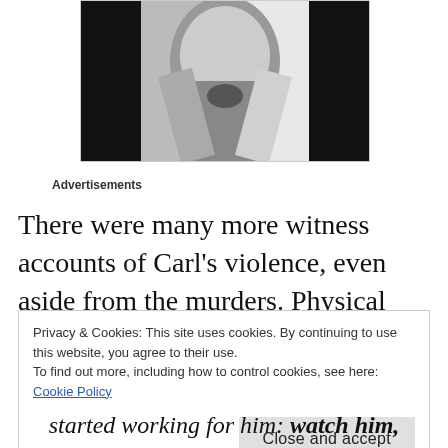[Figure (photo): Black and white photograph, appears to show a person partially obscured, high contrast image]
Advertisements
There were many more witness accounts of Carl’s violence, even aside from the murders. Physical abuse of his “girlfriends” and of the women who worked the
Privacy & Cookies: This site uses cookies. By continuing to use this website, you agree to their use.
To find out more, including how to control cookies, see here: Cookie Policy
Close and accept
started working for him: watch him,